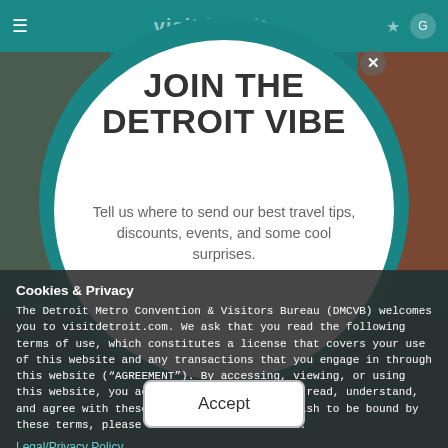[Figure (screenshot): Website screenshot showing visitdetroit.com with teal navigation bar at top and blurred content images on sides]
JOIN THE DETROIT VIBE
Tell us where to send our best travel tips, discounts, events, and some cool surprises.
Cookies & Privacy
The Detroit Metro Convention & Visitors Bureau (DMCVB) welcomes you to visitdetroit.com. We ask that you read the following terms of use, which constitutes a license that covers your use of this website and any transactions that you engage in through this website (“AGREEMENT”). By accessing, viewing, or using this website, you acknowledge that you have read, understand, and agree with these terms. If you do not wish to be bound by these terms, please do not use this website.
Legal/Privacy Policy
Accept